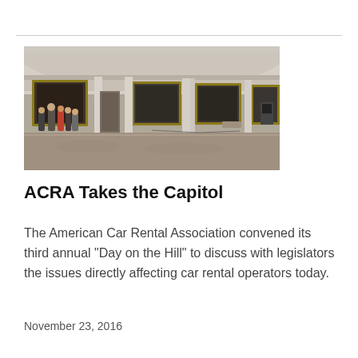[Figure (photo): Interior of the US Capitol Rotunda showing visitors walking along the curved gallery walls lined with large gold-framed historical paintings, marble columns, and polished stone floors.]
ACRA Takes the Capitol
The American Car Rental Association convened its third annual "Day on the Hill" to discuss with legislators the issues directly affecting car rental operators today.
November 23, 2016